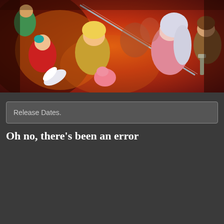[Figure (illustration): Anime-style illustration from Seven Deadly Sins featuring multiple characters including a blonde male character in the center, a silver-haired female character on the right, and other colorful characters on an orange/red fiery background.]
Release Dates.
Oh no, there's been an error